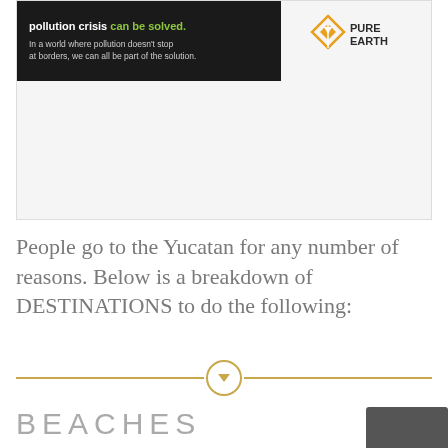[Figure (other): Pure Earth advertisement banner. Black strip at top with text 'pollution crisis can be solved.' in white and green bold text. Subtext: 'In a world where pollution doesn't stop at borders, we can all be part of the solution.' Logo shows orange diamond with white arrow icon and 'PURE EARTH' in dark text. Below is a gray/white empty advertisement space.]
People go to the Yucatan for any number of reasons. Below is a breakdown of DESTINATIONS to do the following:
[Figure (infographic): Horizontal gold divider line with a circle containing a downward-pointing triangle/arrow in the center.]
BEACHES